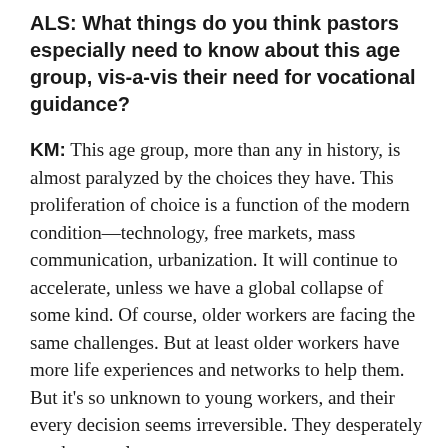ALS: What things do you think pastors especially need to know about this age group, vis-a-vis their need for vocational guidance?
KM: This age group, more than any in history, is almost paralyzed by the choices they have. This proliferation of choice is a function of the modern condition—technology, free markets, mass communication, urbanization. It will continue to accelerate, unless we have a global collapse of some kind. Of course, older workers are facing the same challenges. But at least older workers have more life experiences and networks to help them. But it's so unknown to young workers, and their every decision seems irreversible. They desperately need pastoral